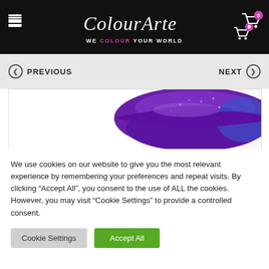ColourArte — WE COLOUR YOUR WORLD
PREVIOUS | NEXT
[Figure (photo): Close-up photograph of purple/violet lips with glitter, partially visible on white background]
We use cookies on our website to give you the most relevant experience by remembering your preferences and repeat visits. By clicking "Accept All", you consent to the use of ALL the cookies. However, you may visit "Cookie Settings" to provide a controlled consent.
Cookie Settings | Accept All